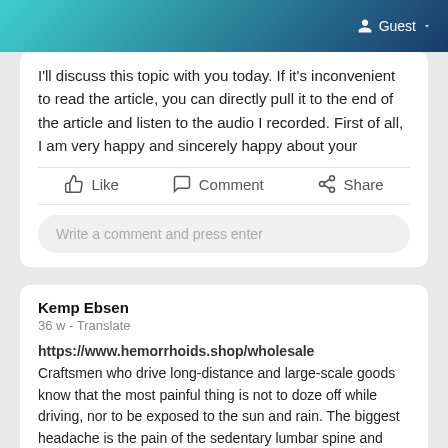Guest
I'll discuss this topic with you today. If it's inconvenient to read the article, you can directly pull it to the end of the article and listen to the audio I recorded. First of all, I am very happy and sincerely happy about your
Like   Comment   Share
Write a comment and press enter
Kemp Ebsen
36 w - Translate
https://www.hemorrhoids.shop/wholesale
Craftsmen who drive long-distance and large-scale goods know that the most painful thing is not to doze off while driving, nor to be exposed to the sun and rain. The biggest headache is the pain of the sedentary lumbar spine and